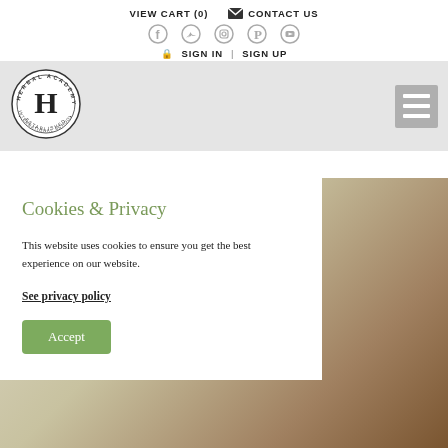VIEW CART (0)   ✉ CONTACT US
[Figure (logo): Herbal Academy International School circular stamp logo with large H in center, established 2011]
Cookies & Privacy
This website uses cookies to ensure you get the best experience on our website.
See privacy policy
Accept